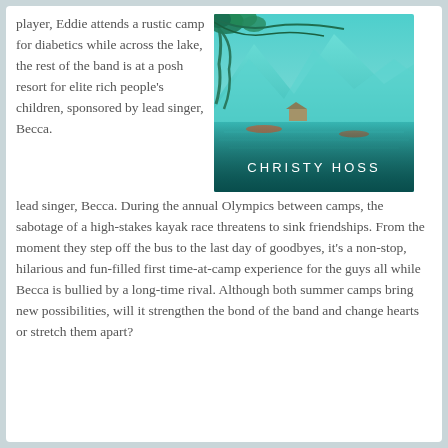player, Eddie attends a rustic camp for diabetics while across the lake, the rest of the band is at a posh resort for elite rich people's children, sponsored by lead singer, Becca. During the annual Olympics between camps, the sabotage of a high-stakes kayak race threatens to sink friendships. From the moment they step off the bus to the last day of goodbyes, it's a non-stop, hilarious and fun-filled first time-at-camp experience for the guys all while Becca is bullied by a long-time rival. Although both summer camps bring new possibilities, will it strengthen the bond of the band and change hearts or stretch them apart?
[Figure (illustration): Book cover with teal/turquoise mountain lake scene with overhanging trees, kayaks visible in background. Author name 'CHRISTY HOSS' displayed in white text at bottom of cover.]